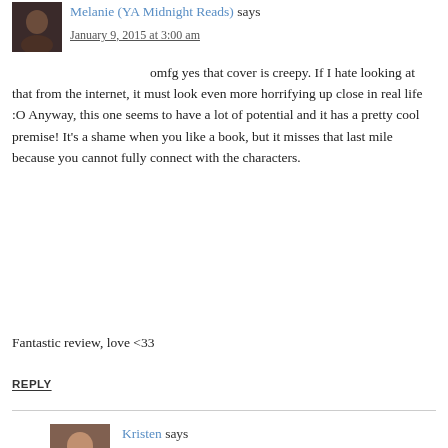Melanie (YA Midnight Reads) says
January 9, 2015 at 3:00 am
omfg yes that cover is creepy. If I hate looking at that from the internet, it must look even more horrifying up close in real life :O Anyway, this one seems to have a lot of potential and it has a pretty cool premise! It’s a shame when you like a book, but it misses that last mile because you cannot fully connect with the characters.

Fantastic review, love <33
REPLY
Kristen says
January 9, 2015 at 8:31 pm
It is way worse in person! I’d find myself staring at it and just—no. I hope you like it